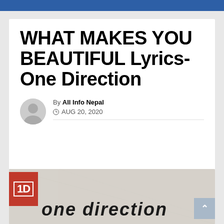WHAT MAKES YOU BEAUTIFUL Lyrics- One Direction
By All Info Nepal
© AUG 20, 2020
[Figure (illustration): One Direction band logo (1D in red box) with 'one direction' text in stylized hand-drawn font on a gray/beige background]